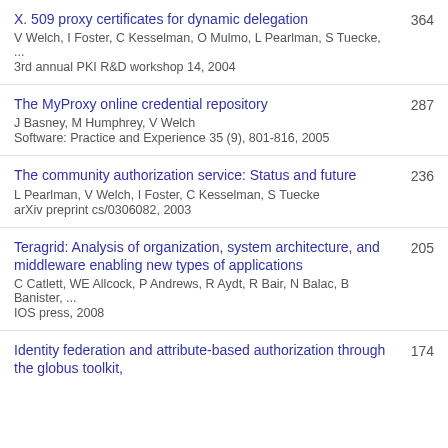X. 509 proxy certificates for dynamic delegation
V Welch, I Foster, C Kesselman, O Mulmo, L Pearlman, S Tuecke, ...
3rd annual PKI R&D workshop 14, 2004
364
The MyProxy online credential repository
J Basney, M Humphrey, V Welch
Software: Practice and Experience 35 (9), 801-816, 2005
287
The community authorization service: Status and future
L Pearlman, V Welch, I Foster, C Kesselman, S Tuecke
arXiv preprint cs/0306082, 2003
236
Teragrid: Analysis of organization, system architecture, and middleware enabling new types of applications
C Catlett, WE Allcock, P Andrews, R Aydt, R Bair, N Balac, B Banister, ...
IOS press, 2008
205
Identity federation and attribute-based authorization through the globus toolkit,
174